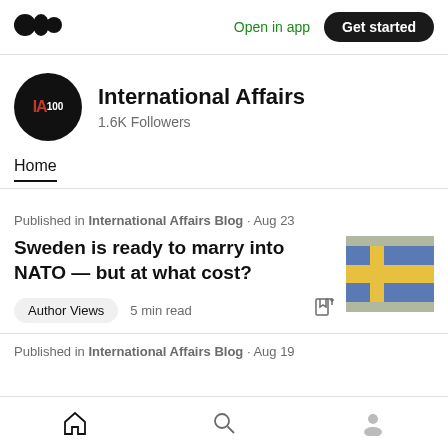Open in app  Get started
[Figure (logo): International Affairs publication logo — black circle with IA in red and 100 in white]
International Affairs
1.6K Followers
Home
Published in International Affairs Blog · Aug 23
Sweden is ready to marry into NATO — but at what cost?
[Figure (photo): Photo of a Swedish flag (blue and yellow) against a grey sky]
Author Views  5 min read
Published in International Affairs Blog · Aug 19